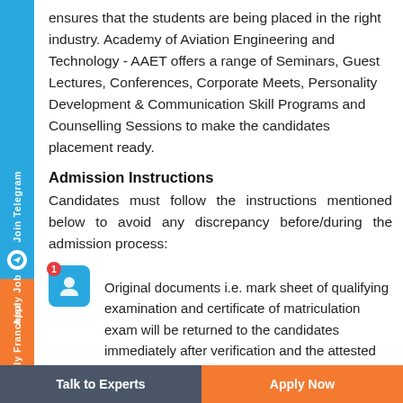ensures that the students are being placed in the right industry. Academy of Aviation Engineering and Technology - AAET offers a range of Seminars, Guest Lectures, Conferences, Corporate Meets, Personality Development & Communication Skill Programs and Counselling Sessions to make the candidates placement ready.
Admission Instructions
Candidates must follow the instructions mentioned below to avoid any discrepancy before/during the admission process:
Original documents i.e. mark sheet of qualifying examination and certificate of matriculation exam will be returned to the candidates immediately after verification and the attested
Talk to Experts    Apply Now